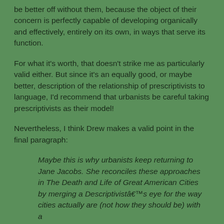be better off without them, because the object of their concern is perfectly capable of developing organically and effectively, entirely on its own, in ways that serve its function.
For what it's worth, that doesn't strike me as particularly valid either. But since it's an equally good, or maybe better, description of the relationship of prescriptivists to language, I'd recommend that urbanists be careful taking prescriptivists as their model!
Nevertheless, I think Drew makes a valid point in the final paragraph:
Maybe this is why urbanists keep returning to Jane Jacobs. She reconciles these approaches in The Death and Life of Great American Cities by merging a Descriptivistâ€™s eye for the way cities actually are (not how they should be) with a